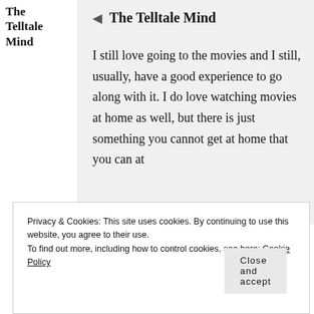The Telltale Mind
The Telltale Mind
I still love going to the movies and I still, usually, have a good experience to go along with it. I do love watching movies at home as well, but there is just something you cannot get at home that you can at
Privacy & Cookies: This site uses cookies. By continuing to use this website, you agree to their use.
To find out more, including how to control cookies, see here: Cookie Policy
Close and accept